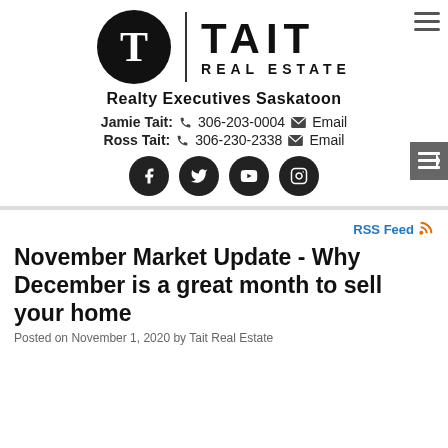[Figure (logo): Tait Real Estate logo with circular T icon and TAIT REAL ESTATE text]
Realty Executives Saskatoon
Jamie Tait: 306-203-0004  Email
Ross Tait: 306-230-2338  Email
[Figure (illustration): Social media icons: Facebook, Twitter, YouTube, Instagram]
RSS Feed
November Market Update - Why December is a great month to sell your home
Posted on November 1, 2020 by Tait Real Estate